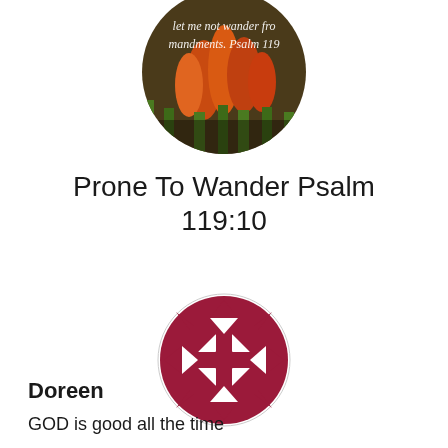[Figure (photo): Circular photo of orange/red tulips with white italic script text overlay reading 'let me not wander from thy commandments. Psalm 119']
Prone To Wander Psalm 119:10
[Figure (logo): Circular dark red/maroon logo with a geometric lattice/quilt pattern of interlocking squares and triangles on white background]
Doreen
GOD is good all the time